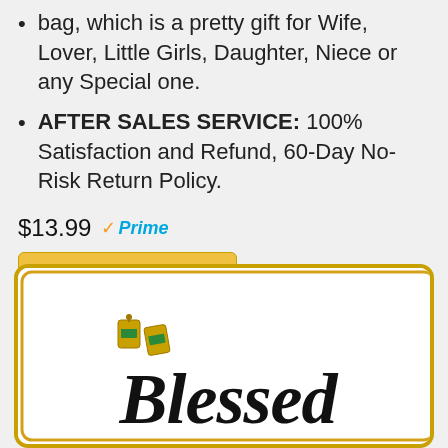bag, which is a pretty gift for Wife, Lover, Little Girls, Daughter, Niece or any Special one.
AFTER SALES SERVICE: 100% Satisfaction and Refund, 60-Day No-Risk Return Policy.
$13.99 Prime
Buy on Amazon
[Figure (photo): Photo of a white ceramic ring dish/tray with gold border trim, containing a pair of gold and green gemstone earrings. The tray has 'Blessed' written in black cursive script.]